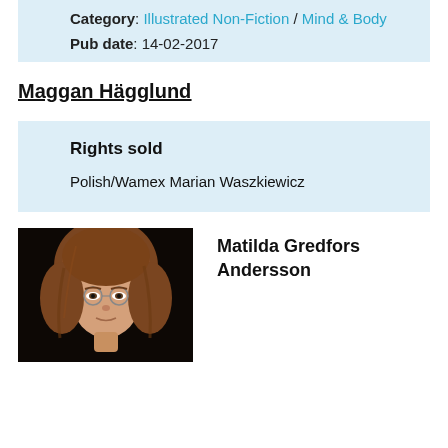Category: Illustrated Non-Fiction / Mind & Body
Pub date: 14-02-2017
Maggan Hägglund
Rights sold
Polish/Wamex Marian Waszkiewicz
[Figure (photo): Portrait photo of Matilda Gredfors Andersson, a woman with reddish-blonde hair against a black background]
Matilda Gredfors Andersson